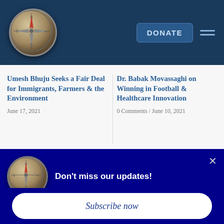[Figure (logo): Compass logo in header navigation bar]
DONATE
Umesh Bhuju Seeks a Fair Deal for Immigrants, Farmers & the Environment
June 17, 2021
Dr. Babak Movassaghi on Winning in Football & Healthcare Innovation
0 Comments / June 10, 2021
[Figure (logo): Compass logo in popup notification]
Don't miss our updates!
Subscribe now